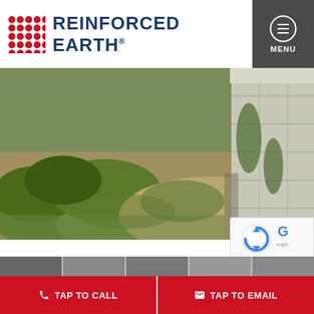[Figure (logo): Reinforced Earth logo with red dot grid and blue company name text]
[Figure (photo): Photograph of a reinforced earth retaining wall structure with overgrown grasses and vines, concrete panel wall visible on the right side]
[Figure (other): reCAPTCHA widget badge with Google logo, Privacy and Terms links]
[Figure (photo): Thumbnail strip of small project photos at the bottom of the page]
TAP TO CALL
TAP TO EMAIL